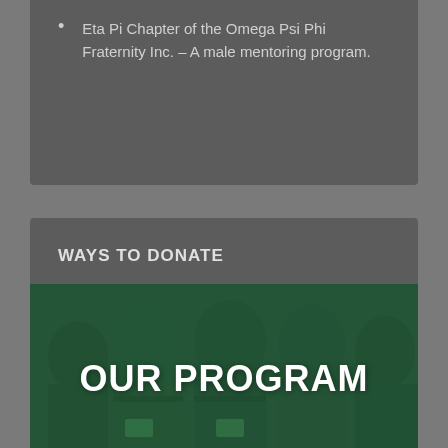Eta Pi Chapter of the Omega Psi Phi Fraternity Inc. – A male mentoring program.
WAYS TO DONATE
[Figure (photo): Group photo of young men in formal attire with green color overlay and text 'OUR PROGRAM' overlaid in large white bold letters]
The Success of our Scholars depends on